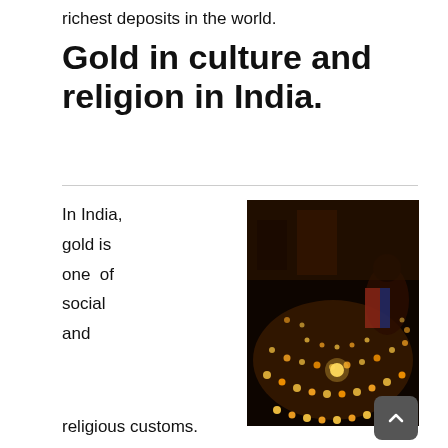richest deposits in the world.
Gold in culture and religion in India.
In India, gold is one of social and religious customs.
[Figure (photo): A woman arranging small oil lamps (diyas) in a decorative pattern on a dark floor, surrounded by many glowing lamps, suggesting a Diwali or religious festival celebration in India.]